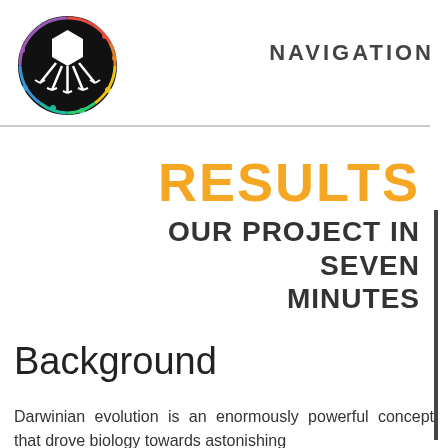[Figure (logo): Circular logo with dark background showing a bacteriophage/virus icon with colorful circuit board pattern in rainbow colors around it, white hexagonal phage body with legs]
NAVIGATION
RESULTS
OUR PROJECT IN SEVEN MINUTES
Background
Darwinian evolution is an enormously powerful concept that drove biology towards astonishing